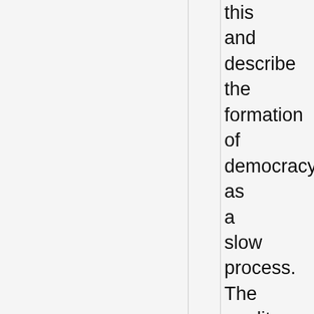this and describe the formation of democracy as a slow process. The credit for creating